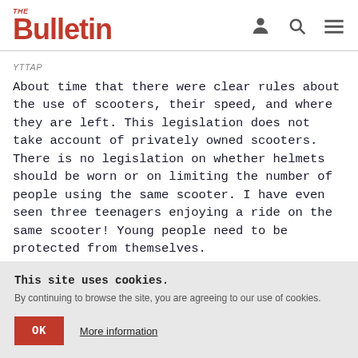THE Bulletin
YTTAP
About time that there were clear rules about the use of scooters, their speed, and where they are left. This legislation does not take account of privately owned scooters. There is no legislation on whether helmets should be worn or on limiting the number of people using the same scooter. I have even seen three teenagers enjoying a ride on the same scooter! Young people need to be protected from themselves.
Oct 26, 2021 09:26
This site uses cookies. By continuing to browse the site, you are agreeing to our use of cookies.